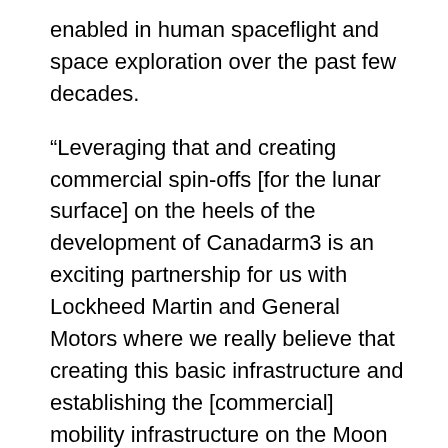enabled in human spaceflight and space exploration over the past few decades.
“Leveraging that and creating commercial spin-offs [for the lunar surface] on the heels of the development of Canadarm3 is an exciting partnership for us with Lockheed Martin and General Motors where we really believe that creating this basic infrastructure and establishing the [commercial] mobility infrastructure on the Moon is something that will not only enable government missions.
So what is this branch of MDA’s partnership with Lockheed Martin and General Motors and how does it relate to MDA’s ongoing initiatives with